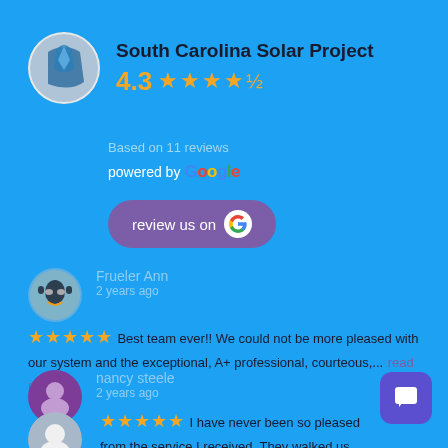[Figure (logo): South Carolina Solar Project circular logo with map/flag imagery]
South Carolina Solar Project
4.3 ★★★★½
Based on 11 reviews
powered by Google
review us on G
[Figure (photo): Reviewer avatar - person wearing sunglasses]
Frueler Ann
2 years ago
★★★★★ Best team ever!!  We could not be more pleased with our system and the exceptional, A+ professional, courteous,... read more
[Figure (illustration): Generic purple avatar icon for second reviewer]
nancy steele
2 years ago
★★★★★ I have never been so pleased from the service I received. They walked us through every step and what date it would... read more
[Figure (photo): Third reviewer avatar - partial view at bottom]